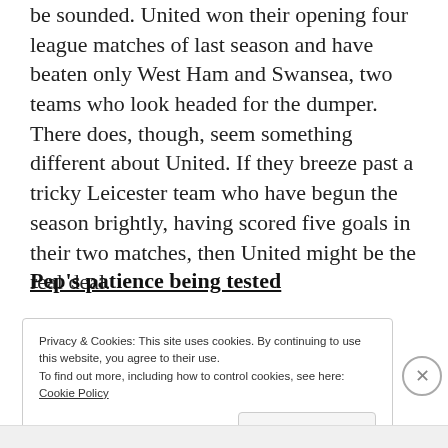be sounded. United won their opening four league matches of last season and have beaten only West Ham and Swansea, two teams who look headed for the dumper. There does, though, seem something different about United. If they breeze past a tricky Leicester team who have begun the season brightly, having scored five goals in their two matches, then United might be the real deal.
Pep's patience being tested
Privacy & Cookies: This site uses cookies. By continuing to use this website, you agree to their use.
To find out more, including how to control cookies, see here: Cookie Policy